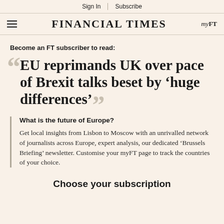Sign In | Subscribe
FINANCIAL TIMES  myFT
Become an FT subscriber to read:
EU reprimands UK over pace of Brexit talks beset by 'huge differences'
What is the future of Europe?
Get local insights from Lisbon to Moscow with an unrivalled network of journalists across Europe, expert analysis, our dedicated 'Brussels Briefing' newsletter. Customise your myFT page to track the countries of your choice.
Choose your subscription